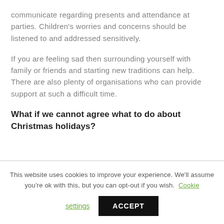communicate regarding presents and attendance at parties. Children's worries and concerns should be listened to and addressed sensitively.
If you are feeling sad then surrounding yourself with family or friends and starting new traditions can help. There are also plenty of organisations who can provide support at such a difficult time.
What if we cannot agree what to do about Christmas holidays?
This website uses cookies to improve your experience. We'll assume you're ok with this, but you can opt-out if you wish. Cookie settings ACCEPT